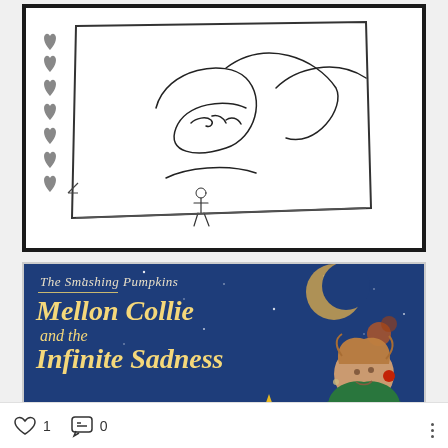[Figure (illustration): Hand-drawn pencil sketch showing a decorative card/paper with small hearts along the left border and a cursive signature/autograph in the center, surrounded by swirling pen strokes. The sketch is bordered by a thick black frame.]
[Figure (photo): Album cover of The Smashing Pumpkins 'Mellon Collie and the Infinite Sadness'. Blue starry night background with a crescent moon, a yellow star shape, and a Victorian-style female figure in green dress looking upward. Title text in yellow italic font.]
1
0